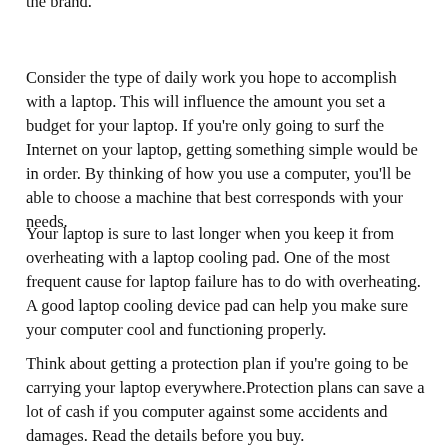the brand.
Consider the type of daily work you hope to accomplish with a laptop. This will influence the amount you set a budget for your laptop. If you're only going to surf the Internet on your laptop, getting something simple would be in order. By thinking of how you use a computer, you'll be able to choose a machine that best corresponds with your needs.
Your laptop is sure to last longer when you keep it from overheating with a laptop cooling pad. One of the most frequent cause for laptop failure has to do with overheating. A good laptop cooling device pad can help you make sure your computer cool and functioning properly.
Think about getting a protection plan if you're going to be carrying your laptop everywhere.Protection plans can save a lot of cash if you computer against some accidents and damages. Read the details before you buy.